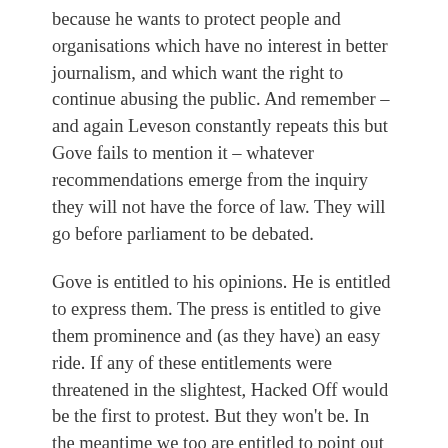because he wants to protect people and organisations which have no interest in better journalism, and which want the right to continue abusing the public. And remember – and again Leveson constantly repeats this but Gove fails to mention it – whatever recommendations emerge from the inquiry they will not have the force of law. They will go before parliament to be debated.
Gove is entitled to his opinions. He is entitled to express them. The press is entitled to give them prominence and (as they have) an easy ride. If any of these entitlements were threatened in the slightest, Hacked Off would be the first to protest. But they won't be. In the meantime we too are entitled to point out that Gove is talking nonsense and that newspapers that really cared about free expression and informing their readers would report the current press debate rather differently.